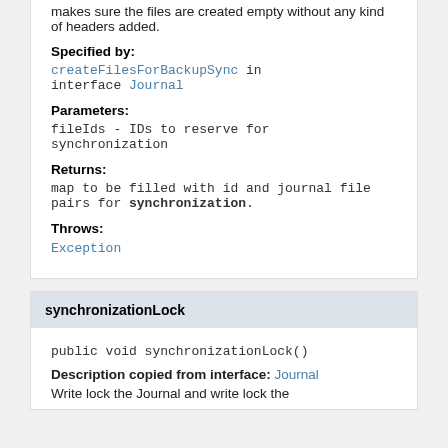makes sure the files are created empty without any kind of headers added.
Specified by:
createFilesForBackupSync in interface Journal
Parameters:
fileIds - IDs to reserve for synchronization
Returns:
map to be filled with id and journal file pairs for synchronization.
Throws:
Exception
synchronizationLock
public void synchronizationLock()
Description copied from interface: Journal
Write lock the Journal and write lock the